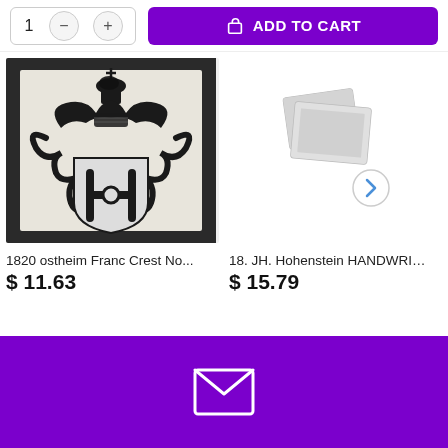[Figure (screenshot): Quantity selector (showing 1) with minus and plus buttons, and purple ADD TO CART button with shopping bag icon]
[Figure (illustration): 1820 ostheim Franc Crest heraldry image - black and white coat of arms with helmet crest]
1820 ostheim Franc Crest No...
$ 11.63
[Figure (photo): Stacked photos placeholder icon for 18. JH. Hohenstein HANDWRIT...]
18. JH. Hohenstein HANDWRIT...
$ 15.79
[Figure (illustration): Purple footer bar with white envelope/mail icon]